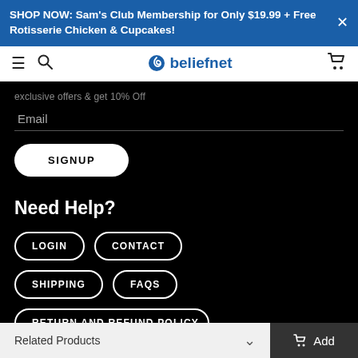SHOP NOW: Sam's Club Membership for Only $19.99 + Free Rotisserie Chicken & Cupcakes!
[Figure (screenshot): Beliefnet website navigation bar with hamburger menu, search icon, beliefnet logo, and cart icon]
exclusive offers & get 10% Off
Email
SIGNUP
Need Help?
LOGIN
CONTACT
SHIPPING
FAQS
RETURN AND REFUND POLICY
Related Products   Add